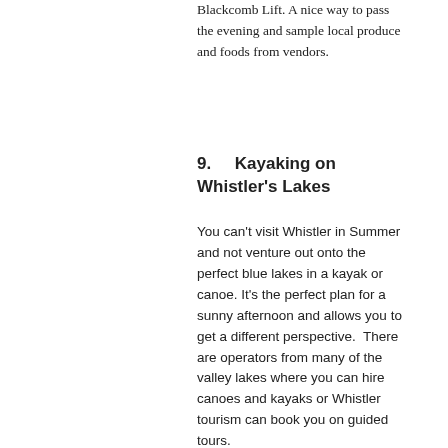Blackcomb Lift. A nice way to pass the evening and sample local produce and foods from vendors.
9.    Kayaking on Whistler's Lakes
You can't visit Whistler in Summer and not venture out onto the perfect blue lakes in a kayak or canoe. It's the perfect plan for a sunny afternoon and allows you to get a different perspective.  There are operators from many of the valley lakes where you can hire canoes and kayaks or Whistler tourism can book you on guided tours.